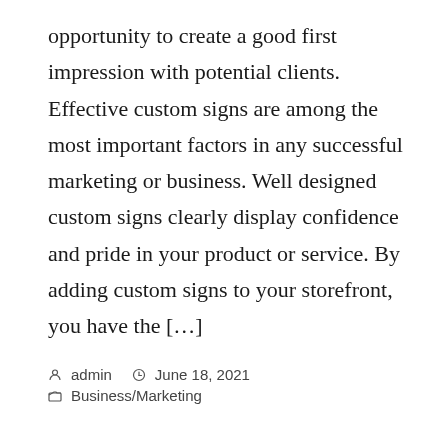opportunity to create a good first impression with potential clients. Effective custom signs are among the most important factors in any successful marketing or business. Well designed custom signs clearly display confidence and pride in your product or service. By adding custom signs to your storefront, you have the […]
admin   June 18, 2021   Business/Marketing